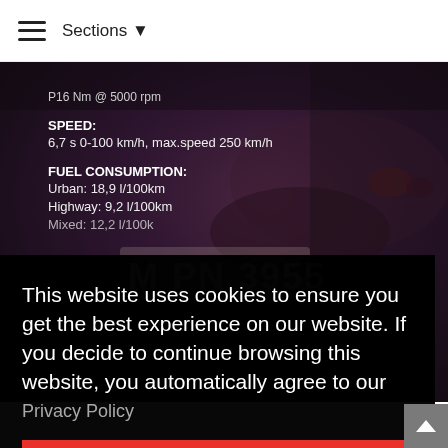Sections ▼
P16 Nm @ 5000 rpm
SPEED:
6,7 s 0-100 km/h, max.speed 250 km/h
FUEL CONSUMPTION:
Urban: 18,9 l/100km
Highway: 9,2 l/100km
Mixed: 12,2 l/100k (partially visible)
[Figure (photo): Dark photograph of rear of car with license plate reading M PN 3955]
This website uses cookies to ensure you get the best experience on our website. If you decide to continue browsing this website, you automatically agree to our Privacy Policy
Got it!